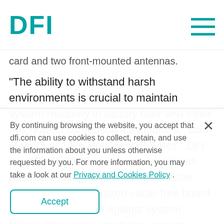DFI
card and two front-mounted antennas.
"The ability to withstand harsh environments is crucial to maintain system reliability in factory floor and other automation computing applications." said Morris Liu, Vice President of Sales - DFI Inc. "The EC200 series system utilizes passive cooling, anti-shock hard drive mounts, and ruggedized cable-free board assembly to protect against system failure. The unique modular-concept construction
By continuing browsing the website, you accept that dfi.com can use cookies to collect, retain, and use the information about you unless otherwise requested by you. For more information, you may take a look at our Privacy and Cookies Policy .
Accept